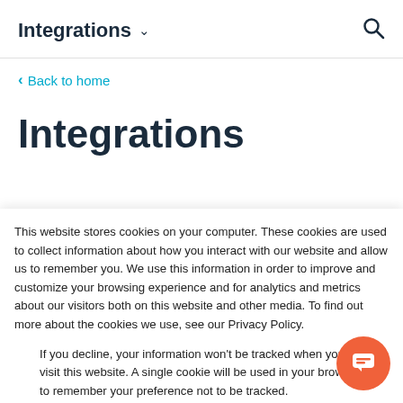Integrations
Back to home
Integrations
This website stores cookies on your computer. These cookies are used to collect information about how you interact with our website and allow us to remember you. We use this information in order to improve and customize your browsing experience and for analytics and metrics about our visitors both on this website and other media. To find out more about the cookies we use, see our Privacy Policy.
If you decline, your information won't be tracked when you visit this website. A single cookie will be used in your browser to remember your preference not to be tracked.
Accept
Decline